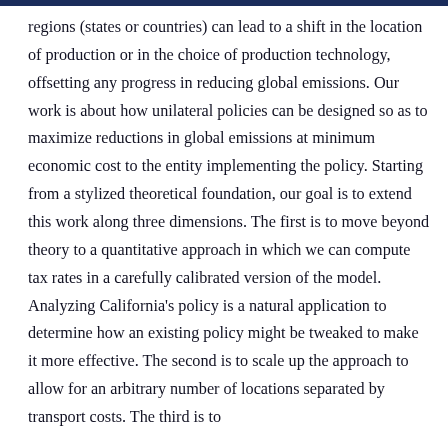regions (states or countries) can lead to a shift in the location of production or in the choice of production technology, offsetting any progress in reducing global emissions. Our work is about how unilateral policies can be designed so as to maximize reductions in global emissions at minimum economic cost to the entity implementing the policy. Starting from a stylized theoretical foundation, our goal is to extend this work along three dimensions. The first is to move beyond theory to a quantitative approach in which we can compute tax rates in a carefully calibrated version of the model. Analyzing California's policy is a natural application to determine how an existing policy might be tweaked to make it more effective. The second is to scale up the approach to allow for an arbitrary number of locations separated by transport costs. The third is to